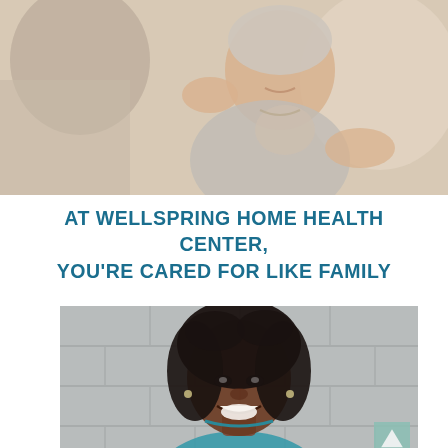[Figure (photo): Elderly woman smiling, being comforted with a hand on her shoulder, gesturing with her hand. Blurred background with other people visible.]
AT WELLSPRING HOME HEALTH CENTER, YOU'RE CARED FOR LIKE FAMILY
[Figure (photo): Smiling young Black woman in teal/blue medical scrubs, leaning against a concrete block wall background.]